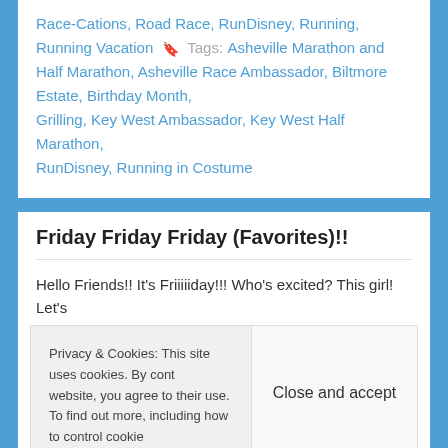Race-Cations, Road Race, RunDisney, Running, Running Vacation  Tags: Asheville Marathon and Half Marathon, Asheville Race Ambassador, Biltmore Estate, Birthday Month, Grilling, Key West Ambassador, Key West Half Marathon, RunDisney, Running in Costume
Friday Friday Friday (Favorites)!!
Hello Friends!! It's Friiiiiday!!! Who's excited? This girl! Let's
Privacy & Cookies: This site uses cookies. By cont website, you agree to their use. To find out more, including how to control cookie
Close and accept
FFavorites, Friday Favorites, Great Gear, Inspiring,